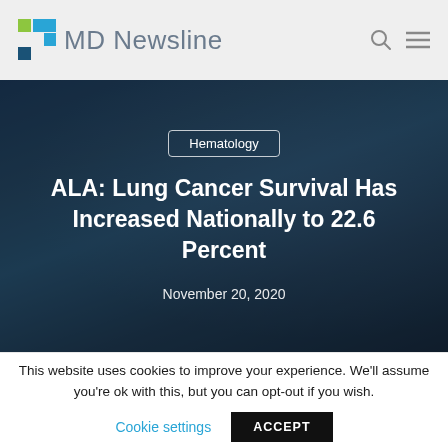MD Newsline
[Figure (photo): Hero image with dark overlay showing two people (doctor and patient) in a clinical setting. Contains category badge 'Hematology', article title 'ALA: Lung Cancer Survival Has Increased Nationally to 22.6 Percent', and date 'November 20, 2020'.]
ALA: Lung Cancer Survival Has Increased Nationally to 22.6 Percent
November 20, 2020
This website uses cookies to improve your experience. We'll assume you're ok with this, but you can opt-out if you wish.